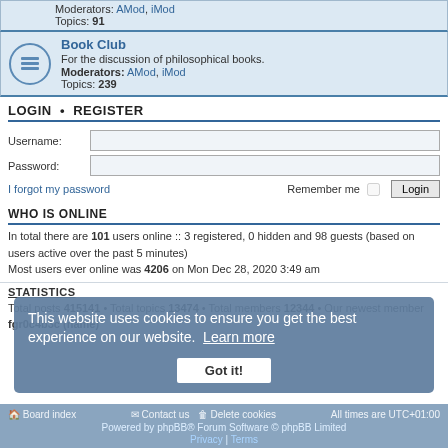Moderators: AMod, iMod
Topics: 91
Book Club
For the discussion of philosophical books.
Moderators: AMod, iMod
Topics: 239
LOGIN • REGISTER
Username:
Password:
I forgot my password
Remember me  Login
WHO IS ONLINE
In total there are 101 users online :: 3 registered, 0 hidden and 98 guests (based on users active over the past 5 minutes)
Most users ever online was 4206 on Mon Dec 28, 2020 3:49 am
STATISTICS
Total posts 415141 • Total topics 13474 • Total members 12344 • Our newest member fgr0c4b3c (name)
Board index  Contact us  Delete cookies  All times are UTC+01:00
Powered by phpBB® Forum Software © phpBB Limited
Privacy | Terms
This website uses cookies to ensure you get the best experience on our website. Learn more
Got it!